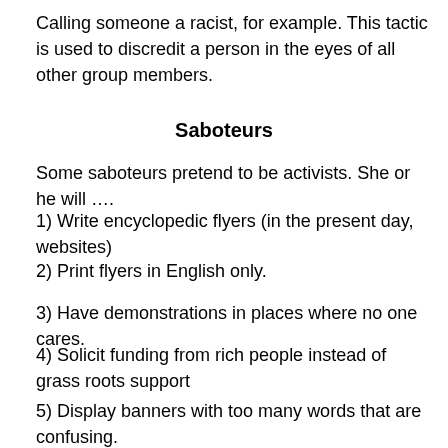Calling someone a racist, for example. This tactic is used to discredit a person in the eyes of all other group members.
Saboteurs
Some saboteurs pretend to be activists. She or he will ….
1) Write encyclopedic flyers (in the present day, websites)
2) Print flyers in English only.
3) Have demonstrations in places where no one cares.
4) Solicit funding from rich people instead of grass roots support
5) Display banners with too many words that are confusing.